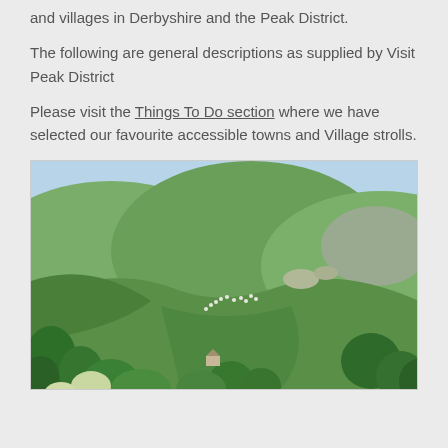and villages in Derbyshire and the Peak District.
The following are general descriptions as supplied by Visit Peak District
Please visit the Things To Do section where we have selected our favourite accessible towns and Village strolls.
[Figure (photo): Aerial view of a lush green valley with rolling hills covered in trees and fields in the Peak District. A small building or farm is visible nestled in the valley bottom among the trees.]